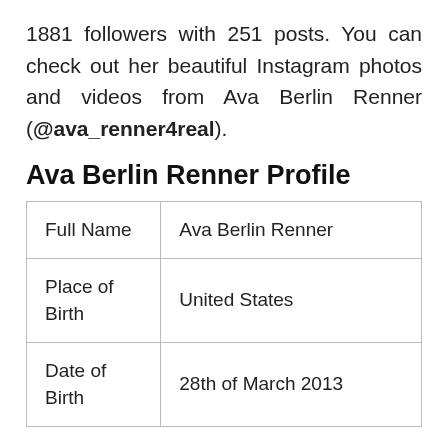1881 followers with 251 posts. You can check out her beautiful Instagram photos and videos from Ava Berlin Renner (@ava_renner4real).
Ava Berlin Renner Profile
| Full Name | Ava Berlin Renner |
| Place of Birth | United States |
| Date of Birth | 28th of March 2013 |